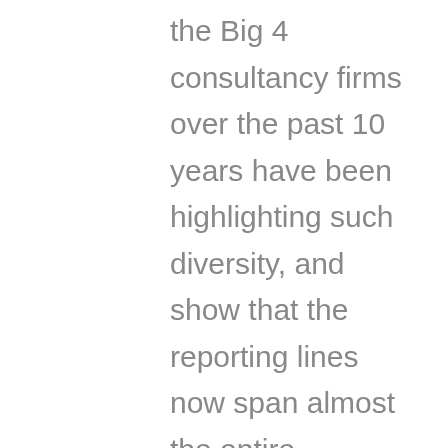the Big 4 consultancy firms over the past 10 years have been highlighting such diversity, and show that the reporting lines now span almost the entire spectrum of board members (including the CEO, COO, CAO, CFO, CRO and Legal counsel). Results indicate that a reporting line to the CIO seems to be the most common in the field, however,